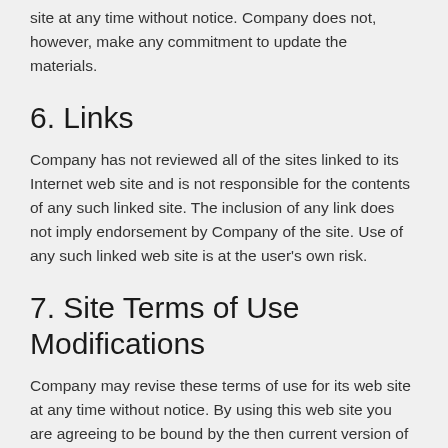site at any time without notice. Company does not, however, make any commitment to update the materials.
6. Links
Company has not reviewed all of the sites linked to its Internet web site and is not responsible for the contents of any such linked site. The inclusion of any link does not imply endorsement by Company of the site. Use of any such linked web site is at the user's own risk.
7. Site Terms of Use Modifications
Company may revise these terms of use for its web site at any time without notice. By using this web site you are agreeing to be bound by the then current version of these Terms and Conditions of Use.
8. Governing Law